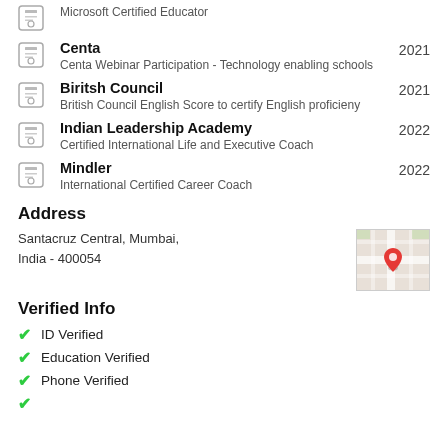Microsoft Certified Educator
Centa | 2021
Centa Webinar Participation - Technology enabling schools
Biritsh Council | 2021
British Council English Score to certify English proficieny
Indian Leadership Academy | 2022
Certified International Life and Executive Coach
Mindler | 2022
International Certified Career Coach
Address
Santacruz Central, Mumbai, India - 400054
[Figure (map): Google Maps thumbnail showing a red location pin marker]
Verified Info
ID Verified
Education Verified
Phone Verified